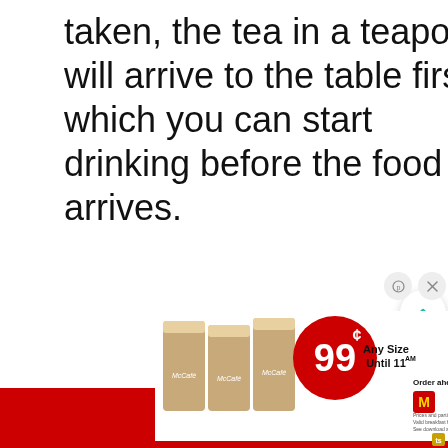taken, the tea in a teapot will arrive to the table first which you can start drinking before the food arrives.
[Figure (infographic): McDonald's McCafe advertisement banner showing three iced coffee drinks in McCafe-branded cups, a red price circle showing 99¢, text reading 'Any Size Until 11AM', McDonald's app promotion 'Order ahead on the app', red background strip at bottom, and McDonald's golden arches logo.]